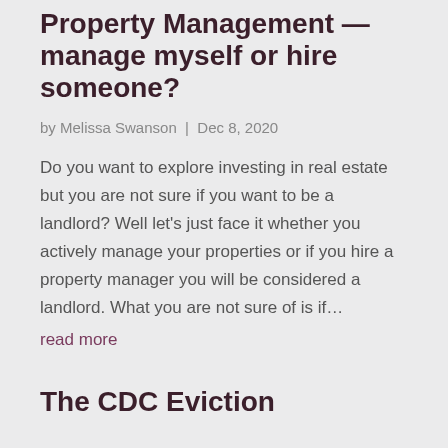Property Management — manage myself or hire someone?
by Melissa Swanson | Dec 8, 2020
Do you want to explore investing in real estate but you are not sure if you want to be a landlord? Well let's just face it whether you actively manage your properties or if you hire a property manager you will be considered a landlord. What you are not sure of is if… read more
The CDC Eviction